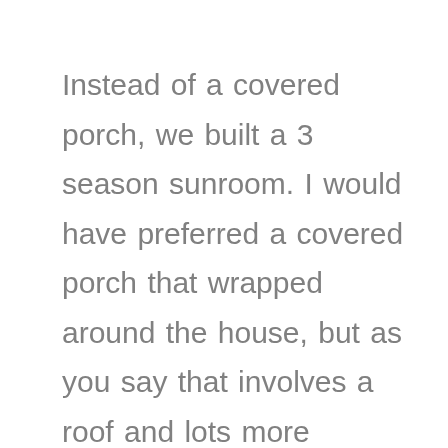Instead of a covered porch, we built a 3 season sunroom. I would have preferred a covered porch that wrapped around the house, but as you say that involves a roof and lots more money. We built a deck in stages that started with 20 feet on the west side, then wrapped around a large white oak at the sw corner and met up with the deck on the south side. Last, I added to the south deck and now we have a deck that wraps around the entire west side (32') and the length of the south side (53'). Lots of room to move my houseplants out in the